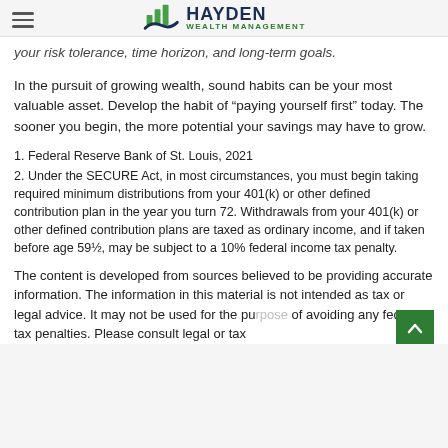Hayden Wealth Management
your risk tolerance, time horizon, and long-term goals.
In the pursuit of growing wealth, sound habits can be your most valuable asset. Develop the habit of “paying yourself first” today. The sooner you begin, the more potential your savings may have to grow.
1. Federal Reserve Bank of St. Louis, 2021
2. Under the SECURE Act, in most circumstances, you must begin taking required minimum distributions from your 401(k) or other defined contribution plan in the year you turn 72. Withdrawals from your 401(k) or other defined contribution plans are taxed as ordinary income, and if taken before age 59½, may be subject to a 10% federal income tax penalty.
The content is developed from sources believed to be providing accurate information. The information in this material is not intended as tax or legal advice. It may not be used for the purpose of avoiding any federal tax penalties. Please consult legal or tax professionals for specific information regarding your individual situation.